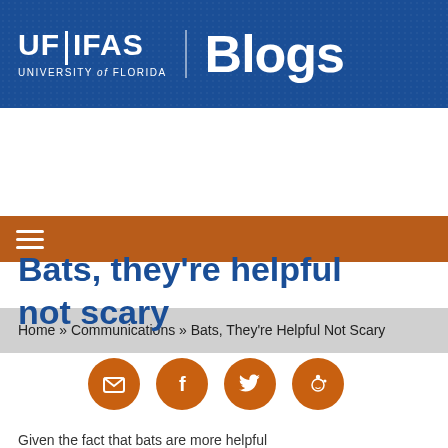UF|IFAS UNIVERSITY of FLORIDA Blogs
Home » Communications » Bats, They're Helpful Not Scary
Bats, they're helpful not scary
[Figure (infographic): Four orange circular social sharing buttons: Email (envelope icon), Facebook (f icon), Twitter (bird icon), Reddit (alien icon)]
Given the fact that bats are more helpful